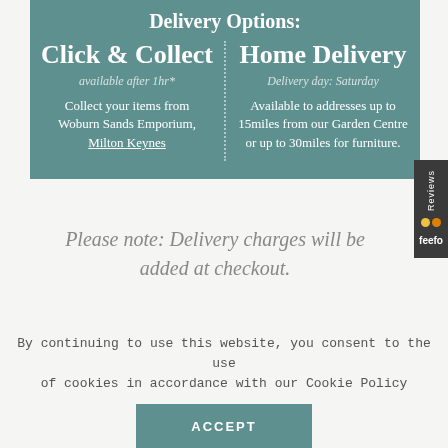Delivery Options:
Click & Collect
available after 1hr*
Collect your items from Woburn Sands Emporium, Milton Keynes
Home Delivery
Delivery day: Saturday
Available to addresses up to 15miles from our Garden Centre or up to 30miles for furniture.
Please note: Delivery charges will be added at checkout.
£14.99
By continuing to use this website, you consent to the use of cookies in accordance with our Cookie Policy
ACCEPT